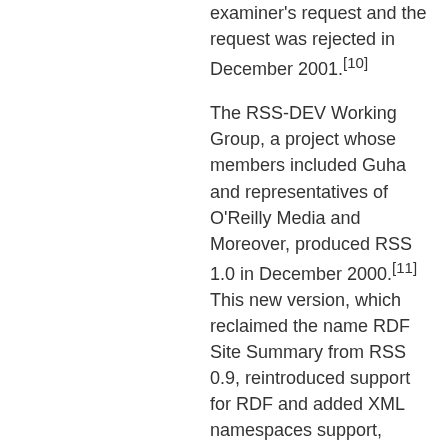examiner's request and the request was rejected in December 2001.[10]
The RSS-DEV Working Group, a project whose members included Guha and representatives of O'Reilly Media and Moreover, produced RSS 1.0 in December 2000.[11] This new version, which reclaimed the name RDF Site Summary from RSS 0.9, reintroduced support for RDF and added XML namespaces support, adopting elements from standard metadata vocabularies such as Dublin Core.
In December 2000, Winer released RSS 0.92[12] a minor set of changes aside from the introduction of the enclosure element, which permitted audio files to be carried in RSS